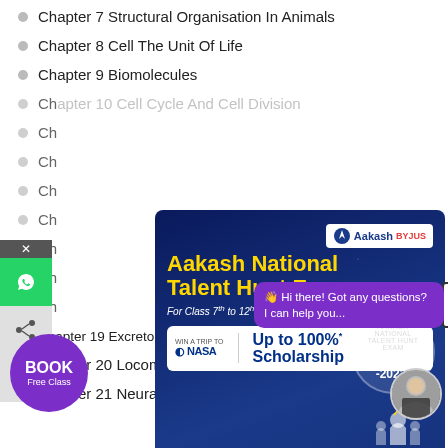Chapter 7 Structural Organisation In Animals
Chapter 8 Cell The Unit Of Life
Chapter 9 Biomolecules
Chapter 10 Cell Cycle And Cell Division (partially obscured)
Chapter 11 (partially obscured)
Chapter 12 (partially obscured)
Chapter 13 (partially obscured)
Chapter 14 (partially obscured)
Chapter 15 (partially obscured)
Chapter 16 (partially obscured)
Chapter 17 (partially obscured)
Chapter 19 Excretory Products And Their Elimination
Chapter 20 Locomotion And Movement
Chapter 21 Neural Control And Coordination
[Figure (infographic): Aakash National Talent Hunt Exam (ANTHE 2022) advertisement. Blue background with yellow title text, NASA win-a-trip promotion, Up to 100% Scholarship, Registrations Open, for Class 7th to 12th Studying and 12th Passed Students.]
[Figure (infographic): Chat bubble: Hi there! Got any questions? I can help you... Purple background with hand wave emoji. Also shows Register button partially visible.]